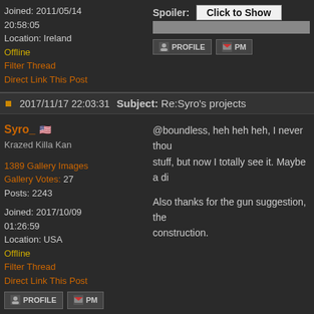Joined: 2011/05/14 20:58:05
Location: Ireland
Offline
Filter Thread
Direct Link This Post
Spoiler: Click to Show
2017/11/17 22:03:31  Subject: Re:Syro's projects
Syro_
Krazed Killa Kan
1389 Gallery Images
Gallery Votes: 27
Posts: 2243
Joined: 2017/10/09 01:26:59
Location: USA
Offline
Filter Thread
Direct Link This Post
@boundless, heh heh heh, I never thou... stuff, but now I totally see it. Maybe a di...

Also thanks for the gun suggestion, the... construction.